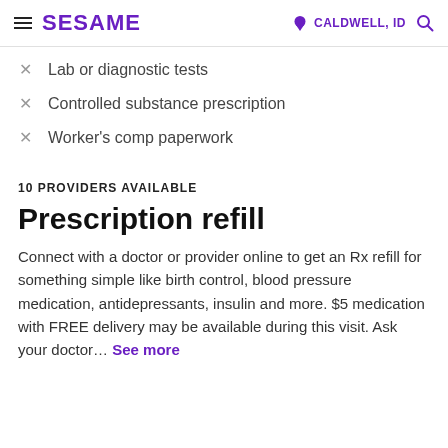SESAME | CALDWELL, ID
Lab or diagnostic tests
Controlled substance prescription
Worker's comp paperwork
10 PROVIDERS AVAILABLE
Prescription refill
Connect with a doctor or provider online to get an Rx refill for something simple like birth control, blood pressure medication, antidepressants, insulin and more. $5 medication with FREE delivery may be available during this visit. Ask your doctor... See more